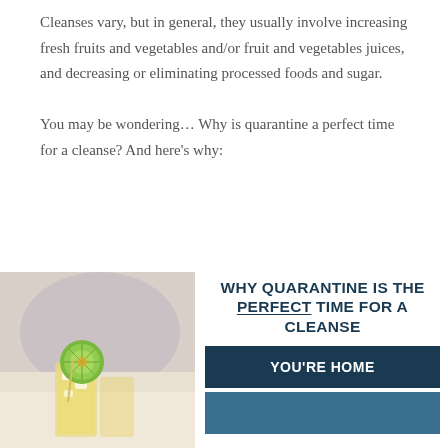Cleanses vary, but in general, they usually involve increasing fresh fruits and vegetables and/or fruit and vegetables juices, and decreasing or eliminating processed foods and sugar.

You may be wondering… Why is quarantine a perfect time for a cleanse? And here's why:
[Figure (photo): A glass of orange juice with ice and a lime/citrus slice garnish on top, blurred background]
WHY QUARANTINE IS THE PERFECT TIME FOR A CLEANSE
YOU'RE HOME